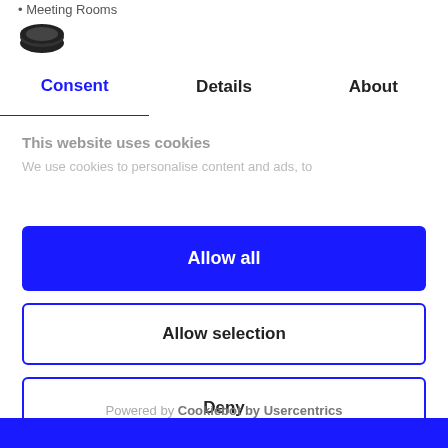Meeting Rooms
[Figure (logo): Cookiebot logo — dark oval cookie shape]
Consent | Details | About
This website uses cookies
We use cookies to personalise content and ads, to
Allow all
Allow selection
Deny
Powered by Cookiebot by Usercentrics